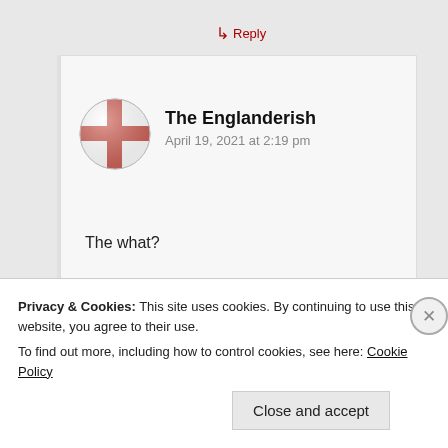↳ Reply
[Figure (illustration): England flag (St. George's Cross) circular avatar — white background with red cross, styled as a circular profile image]
The Englanderish
April 19, 2021 at 2:19 pm
The what?
★ Like
↳ Reply
Privacy & Cookies: This site uses cookies. By continuing to use this website, you agree to their use.
To find out more, including how to control cookies, see here: Cookie Policy
Close and accept